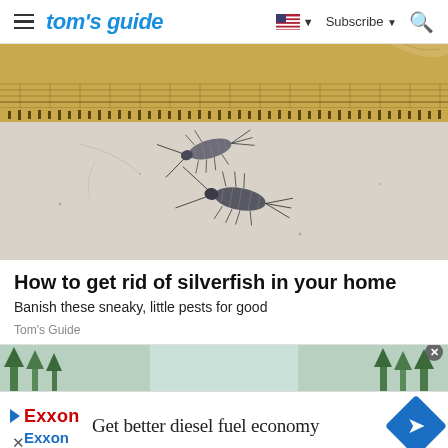tom's guide — Subscribe
[Figure (photo): Close-up photo of two silverfish insects on a light-colored surface with woven textile/mat in the background]
How to get rid of silverfish in your home
Banish these sneaky, little pests for good
Tom's Guide
[Figure (photo): Partial view of outdoor/nature scene, used as ad background]
Get better diesel fuel economy Exxon